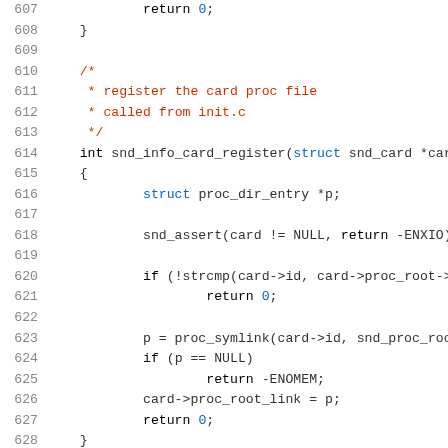[Figure (screenshot): Source code listing in C, lines 607-628, showing function snd_info_card_register with syntax highlighting. Line numbers in gray on left, keywords in black, identifiers in blue, comments in red/brown.]